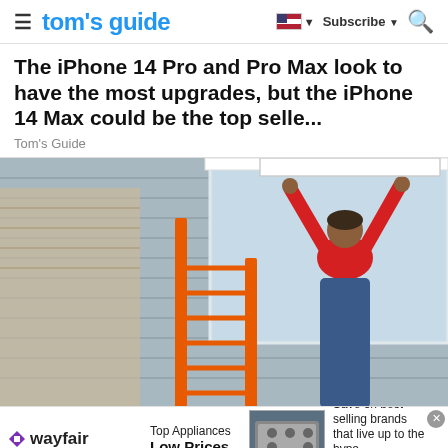tom's guide
The iPhone 14 Pro and Pro Max look to have the most upgrades, but the iPhone 14 Max could be the top selle...
Tom's Guide
[Figure (photo): Workers installing a window on the exterior of a house, one person in a red shirt on a ladder]
[Figure (infographic): Wayfair advertisement banner: Top Appliances Low Prices - Save on best selling brands that live up to the hype - Shop now]